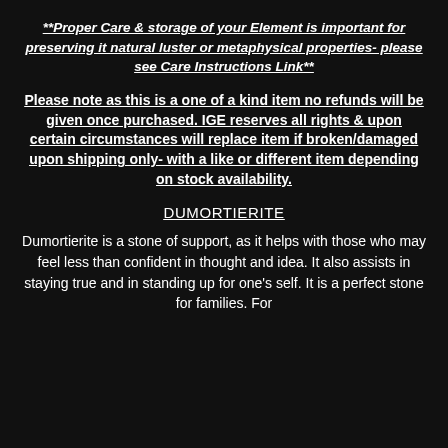**Proper Care & storage of your Element is important for preserving it natural luster or metaphysical properties- please see Care Instructions Link**
Please note as this is a one of a kind item no refunds will be given once purchased. IGE reserves all rights & upon certain circumstances will replace item if broken/damaged upon shipping only- with a like or different item depending on stock availability.
DUMORTIERITE
Dumortierite is a stone of support, as it helps with those who may feel less than confident in thought and idea. It also assists in staying true and in standing up for one's self. It is a perfect stone for families. For